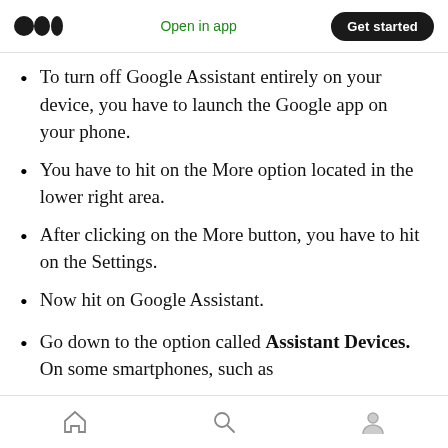Open in app | Get started
To turn off Google Assistant entirely on your device, you have to launch the Google app on your phone.
You have to hit on the More option located in the lower right area.
After clicking on the More button, you have to hit on the Settings.
Now hit on Google Assistant.
Go down to the option called Assistant Devices. On some smartphones, such as
Home | Search | Profile